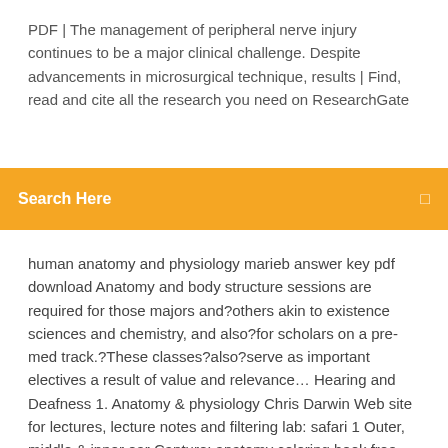PDF | The management of peripheral nerve injury continues to be a major clinical challenge. Despite advancements in microsurgical technique, results | Find, read and cite all the research you need on ResearchGate
Search Here
human anatomy and physiology marieb answer key pdf download Anatomy and body structure sessions are required for those majors and?others akin to existence sciences and chemistry, and also?for scholars on a pre-med track.?These classes?also?serve as important electives a result of value and relevance… Hearing and Deafness 1. Anatomy & physiology Chris Darwin Web site for lectures, lecture notes and filtering lab: safari 1 Outer, middle & inner ear Capture; anatomy coloring book free download pages and physiology pdf human. Ocular